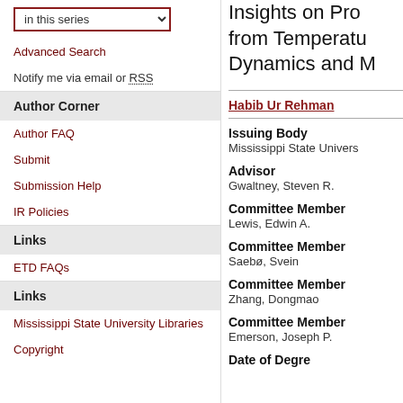in this series (dropdown)
Advanced Search
Notify me via email or RSS
Author Corner
Author FAQ
Submit
Submission Help
IR Policies
Links
ETD FAQs
Links
Mississippi State University Libraries
Copyright
Insights on Pro... from Temperature Dynamics and M...
Habib Ur Rehman
Issuing Body
Mississippi State Univers...
Advisor
Gwaltney, Steven R.
Committee Member
Lewis, Edwin A.
Committee Member
Saebø, Svein
Committee Member
Zhang, Dongmao
Committee Member
Emerson, Joseph P.
Date of Degre...